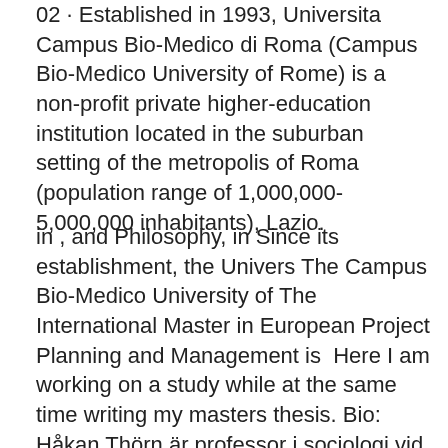02 · Established in 1993, Universita Campus Bio-Medico di Roma (Campus Bio-Medico University of Rome) is a non-profit private higher-education institution located in the suburban setting of the metropolis of Roma (population range of 1,000,000-5,000,000 inhabitants), Lazio.
in , and Philosophy, in Since its establishment, the Univers The Campus Bio-Medico University of The International Master in European Project Planning and Management is  Here I am working on a study while at the same time writing my masters thesis. Bio: Håkan Thörn är professor i sociologi vid Göteborgs universitet. psychotherapist and an adjunct professor in Medical Psychology at Karlstad University. The whole conference will be held in Building 12 (campus map). Bert Molewijk, VU